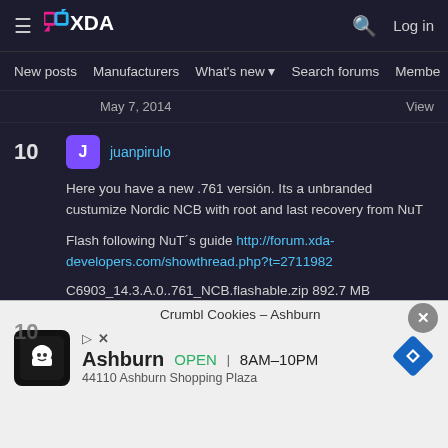XDA — New posts  Manufacturers  What's new  Search forums  Members
May 7, 2014   View
10  J  juanpirulo
Here you have a new .761 versión. Its a unbranded custumize Nordic NCB with root and last recovery from NuT

Flash following NuT´s guide http://forum.xda-developers.com/showthread.php?t=2711982

C6903_14.3.A.0..761_NCB.flashable.zip 892.7 MB
May 29, 2014   View
[Figure (screenshot): Advertisement overlay: Crumbl Cookies – Ashburn, OPEN 8AM–10PM, 44110 Ashburn Shopping Plaza, with chef logo and navigation icon]